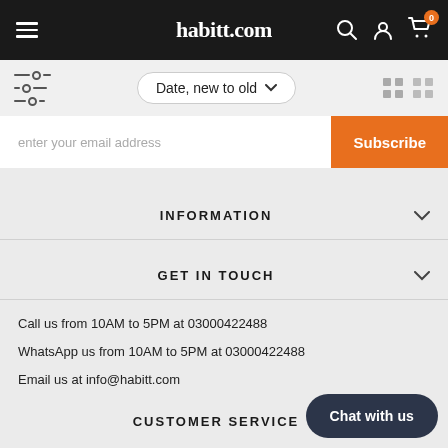habitt.com — navigation bar with hamburger menu, search, user, cart icons
Date, new to old — filter/sort toolbar
enter your email address — Subscribe
INFORMATION
GET IN TOUCH
Call us from 10AM to 5PM at 03000422488
WhatsApp us from 10AM to 5PM at 03000422488
Email us at info@habitt.com
CUSTOMER SERVICE
Chat with us